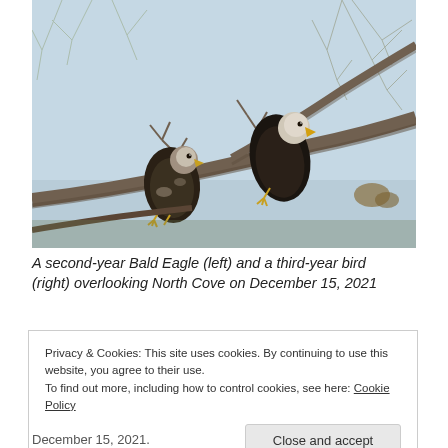[Figure (photo): Two bald eagles perched on bare tree branches against a pale blue sky. Left bird is a second-year Bald Eagle, right bird is a third-year bird, both overlooking North Cove on December 15, 2021.]
A second-year Bald Eagle (left) and a third-year bird (right) overlooking North Cove on December 15, 2021
Privacy & Cookies: This site uses cookies. By continuing to use this website, you agree to their use.
To find out more, including how to control cookies, see here: Cookie Policy
December 15, 2021.